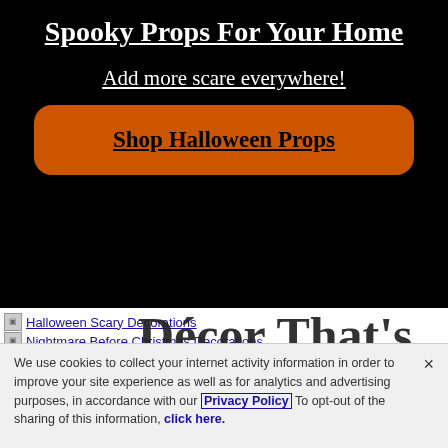Spooky Props For Your Home
Add more scare everywhere!
Shop Halloween Props
Halloween Scary Decorations
Nightmare Before Christmas Decorations
Halloween Spider Curtains
Day of the Dead Decorations
We use cookies to collect your internet activity information in order to improve your site experience as well as for analytics and advertising purposes, in accordance with our Privacy Policy To opt-out of the sharing of this information, click here.